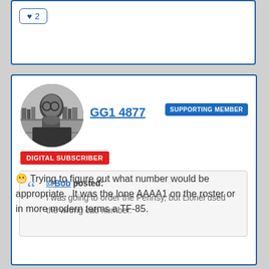[Figure (other): Like button with heart icon and number 2]
[Figure (photo): Black and white profile photo of a bald man with round glasses, hand on chin, in a library setting]
GG1 4877
SUPPORTING MEMBER
DIGITAL SUBSCRIBER
@Bob posted: I was going to order the Pennsy, but Lionel used the wrong cab number.
Trying to figure out what number would be appropriate.  It was the lone AAAA1 on the roster or in more modern terms a TF-85.